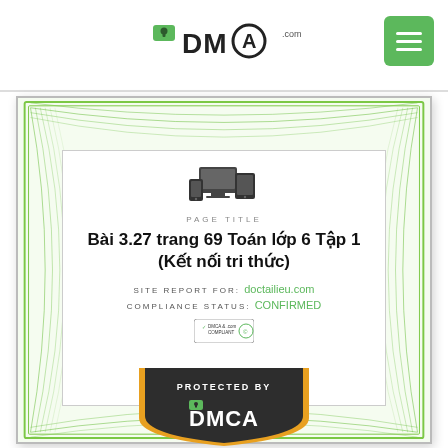[Figure (logo): DMCA.com logo with padlock icon and green menu button in header]
[Figure (illustration): DMCA certificate with guilloché border, devices icon, page title, site report, compliance status Confirmed, DMCA compliant badge, and Protected By DMCA shield at bottom]
PAGE TITLE
Bài 3.27 trang 69 Toán lớp 6 Tập 1 (Kết nối tri thức)
SITE REPORT FOR: doctailieu.com
COMPLIANCE STATUS: Confirmed
PROTECTED BY DMCA